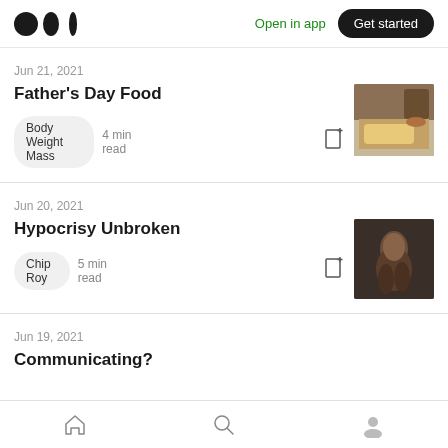Medium logo | Open in app | Get started
Jun 21, 2021
Father's Day Food
Body Weight Mass  4 min read
[Figure (photo): Food photo thumbnail – burger or sandwich with drink]
Jun 20, 2021
Hypocrisy Unbroken
Chip Roy  5 min read
[Figure (photo): Dark moody portrait photo thumbnail]
Jun 19, 2021
Communicating?
Home | Search | Profile